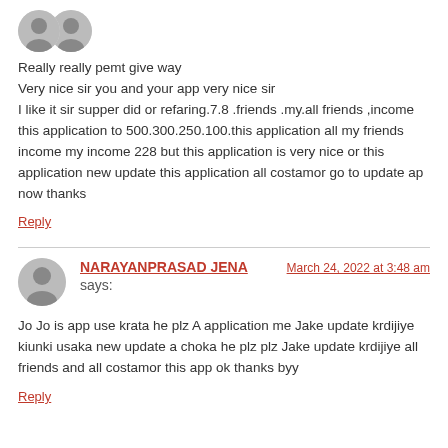[Figure (illustration): Two overlapping gray avatar/user icons at the top left]
Really really pemt give way
Very nice sir you and your app very nice sir
I like it sir supper did or refaring.7.8 .friends .my.all friends ,income this application to 500.300.250.100.this application all my friends income my income 228 but this application is very nice or this application new update this application all costamor go to update ap now thanks
Reply
NARAYANPRASAD JENA says:
March 24, 2022 at 3:48 am
Jo Jo is app use krata he plz A application me Jake update krdijiye kiunki usaka new update a choka he plz plz Jake update krdijiye all friends and all costamor this app ok thanks byy
Reply